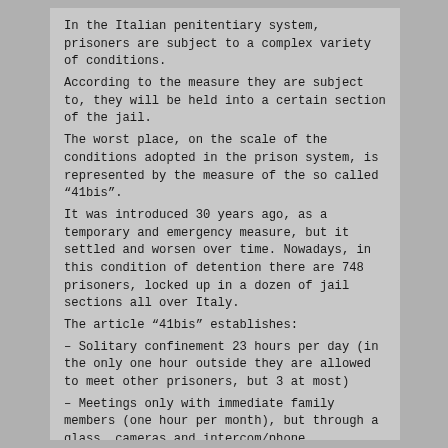In the Italian penitentiary system, prisoners are subject to a complex variety of conditions.
According to the measure they are subject to, they will be held into a certain section of the jail.
The worst place, on the scale of the conditions adopted in the prison system, is represented by the measure of the so called "41bis".
It was introduced 30 years ago, as a temporary and emergency measure, but it settled and worsen over time. Nowadays, in this condition of detention there are 748 prisoners, locked up in a dozen of jail sections all over Italy.
The article "41bis" establishes:
– Solitary confinement 23 hours per day (in the only one hour outside they are allowed to meet other prisoners, but 3 at most)
– Meetings only with immediate family members (one hour per month), but through a glass, cameras and intercom/phone, preventing in this way any kind of direct contact.